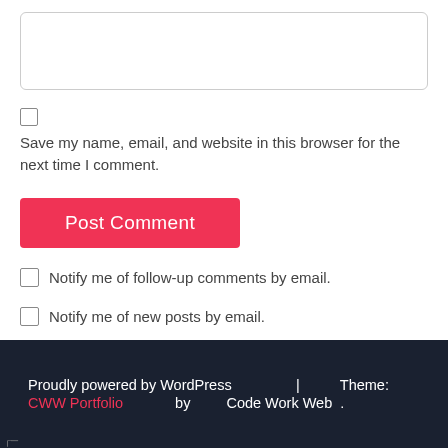[Figure (other): Empty text input box with rounded border]
Save my name, email, and website in this browser for the next time I comment.
Post Comment
Notify me of follow-up comments by email.
Notify me of new posts by email.
Proudly powered by WordPress | Theme: CWW Portfolio by Code Work Web .